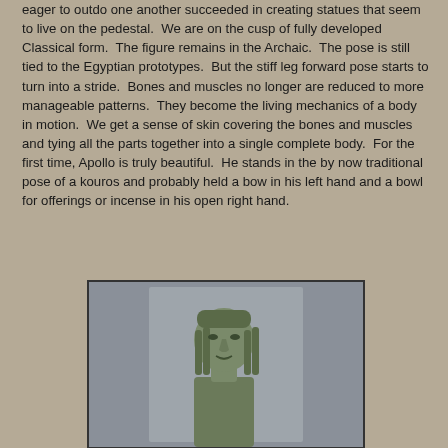eager to outdo one another succeeded in creating statues that seem to live on the pedestal.  We are on the cusp of fully developed Classical form.  The figure remains in the Archaic.  The pose is still tied to the Egyptian prototypes.  But the stiff leg forward pose starts to turn into a stride.  Bones and muscles no longer are reduced to more manageable patterns.  They become the living mechanics of a body in motion.  We get a sense of skin covering the bones and muscles and tying all the parts together into a single complete body.  For the first time, Apollo is truly beautiful.  He stands in the by now traditional pose of a kouros and probably held a bow in his left hand and a bowl for offerings or incense in his open right hand.
[Figure (photo): Photograph of an ancient Greek kouros statue head and upper torso, showing carved wavy hair and archaic facial features, displayed against a gray museum background.]